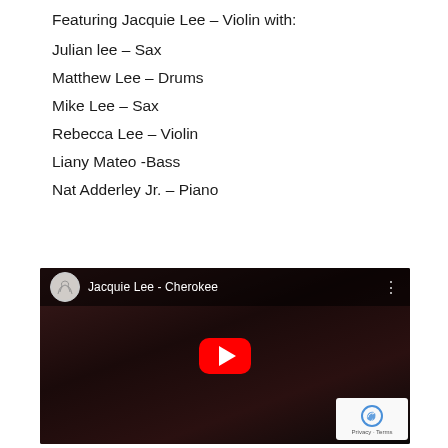Featuring Jacquie Lee – Violin with:
Julian lee – Sax
Matthew Lee – Drums
Mike Lee – Sax
Rebecca Lee – Violin
Liany Mateo -Bass
Nat Adderley Jr. – Piano
[Figure (screenshot): YouTube video thumbnail for 'Jacquie Lee - Cherokee' showing musicians performing on stage with a YouTube play button overlay and reCAPTCHA badge in the corner.]